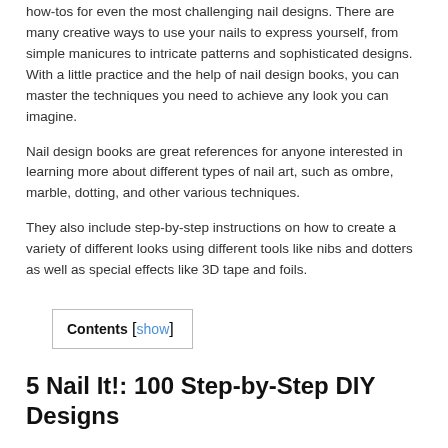how-tos for even the most challenging nail designs. There are many creative ways to use your nails to express yourself, from simple manicures to intricate patterns and sophisticated designs. With a little practice and the help of nail design books, you can master the techniques you need to achieve any look you can imagine.
Nail design books are great references for anyone interested in learning more about different types of nail art, such as ombre, marble, dotting, and other various techniques.
They also include step-by-step instructions on how to create a variety of different looks using different tools like nibs and dotters as well as special effects like 3D tape and foils.
Contents [show]
5 Nail It!: 100 Step-by-Step DIY Designs